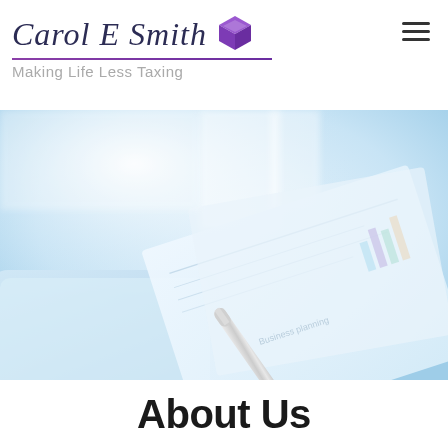Carol E Smith - Making Life Less Taxing
[Figure (photo): Close-up photo of financial documents, a pen, and a tablet on a desk with blue-tinted soft focus lighting]
About Us